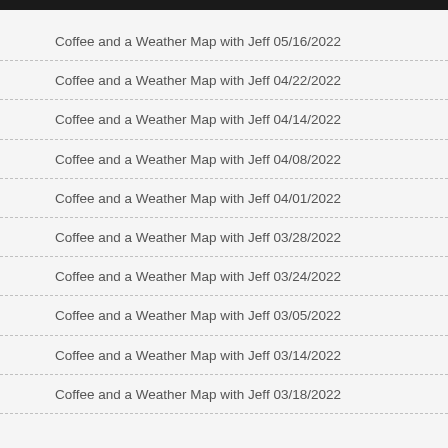Coffee and a Weather Map with Jeff 05/16/2022
Coffee and a Weather Map with Jeff 04/22/2022
Coffee and a Weather Map with Jeff 04/14/2022
Coffee and a Weather Map with Jeff 04/08/2022
Coffee and a Weather Map with Jeff 04/01/2022
Coffee and a Weather Map with Jeff 03/28/2022
Coffee and a Weather Map with Jeff 03/24/2022
Coffee and a Weather Map with Jeff 03/05/2022
Coffee and a Weather Map with Jeff 03/14/2022
Coffee and a Weather Map with Jeff 03/18/2022